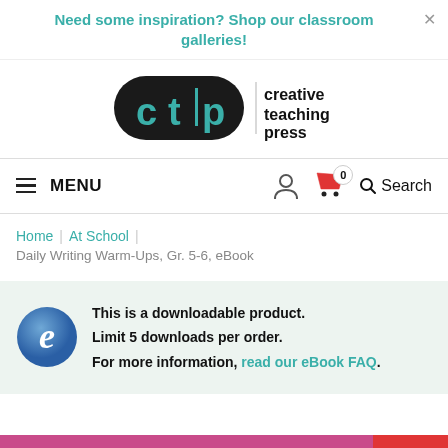Need some inspiration? Shop our classroom galleries!
[Figure (logo): Creative Teaching Press (CTP) logo — black rounded rectangle with teal 'ctp' letters, vertical bar separator, then 'creative teaching press' text in black]
≡ MENU   [user icon] [cart icon] 0   🔍 Search
Home | At School
Daily Writing Warm-Ups, Gr. 5-6, eBook
This is a downloadable product. Limit 5 downloads per order. For more information, read our eBook FAQ.